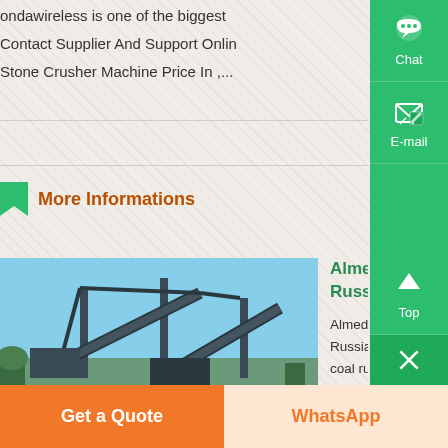ondawireless is one of the biggest Contact Supplier And Support Online Stone Crusher Machine Price In ,...
More Informations
[Figure (photo): Industrial stone crusher facility with conveyor belts and machinery against a blue sky]
Almeda Stone Crusher Price Coal Russian In Philippines
Almeda Brothers Stone Crusher Coal Russian Jaw crusher 2436 galleon coal russian products almeda 36 x stone crusher price coal russian mobile crushing and screening unit from 10 to 120 th 10 x 24 manuels p crusher 24 36 galleon 16 x get price